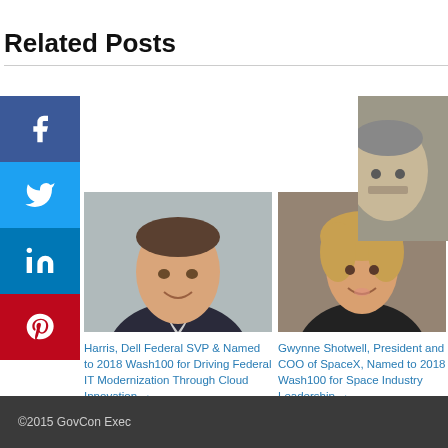Related Posts
[Figure (photo): Headshot of Harris, Dell Federal SVP]
Harris, Dell Federal SVP & Named to 2018 Wash100 for Driving Federal IT Modernization Through Cloud Innovation →
[Figure (photo): Headshot of Gwynne Shotwell, President and COO of SpaceX]
Gwynne Shotwell, President and COO of SpaceX, Named to 2018 Wash100 for Space Industry Leadership →
[Figure (photo): Headshot of Larry Prior, President and CEO of CSRA]
Larry Prior, President and CEO of CSRA, Nominated to 2018 Wash100 for His Leadership in Mergers and Acquisitions →
©2015 GovCon Exec